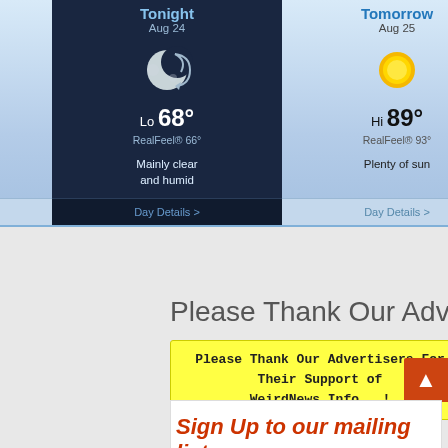[Figure (infographic): AccuWeather-style 3-day weather widget showing Today Aug 24 (Hi 87°, RealFeel® 91°, Partly sunny and humid), Tonight Aug 24 (Lo 68°, RealFeel® 66°, Mainly clear and humid), Tomorrow Aug 25 (Hi 89°, RealFeel® 93°, Plenty of sun), each with Day Details links]
Please Thank Our Advertisers...!
Please Thank Our Advertisers For Their Support of WeirdNews.Info...!
Sign Up to our mailing list